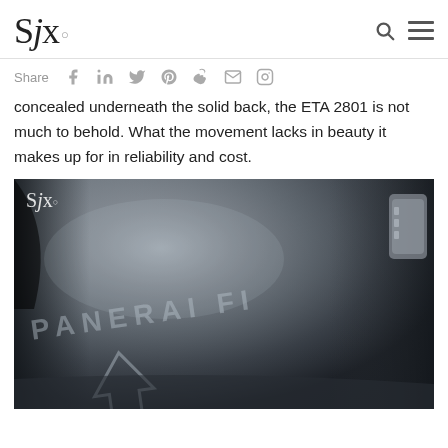SJX
Share
concealed underneath the solid back, the ETA 2801 is not much to behold. What the movement lacks in beauty it makes up for in reliability and cost.
[Figure (photo): Close-up macro photograph of a Panerai watch case back engraved with 'PANERAI FI...' text and an arrow logo, shown in black and white with shallow depth of field. SJX watermark visible in top-left corner of the photo.]